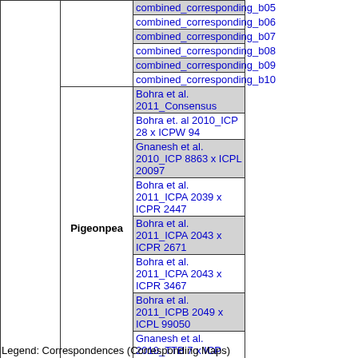| Type | Species | Map Name |
| --- | --- | --- |
|  |  | combined_corresponding_b05 |
|  |  | combined_corresponding_b06 |
|  |  | combined_corresponding_b07 |
|  |  | combined_corresponding_b08 |
|  |  | combined_corresponding_b09 |
|  |  | combined_corresponding_b10 |
|  | Pigeonpea | Bohra et al. 2011_Consensus |
|  | Pigeonpea | Bohra et. al 2010_ICP 28 x ICPW 94 |
|  | Pigeonpea | Gnanesh et al. 2010_ICP 8863 x ICPL 20097 |
|  | Pigeonpea | Bohra et al. 2011_ICPA 2039 x ICPR 2447 |
|  | Pigeonpea | Bohra et al. 2011_ICPA 2043 x ICPR 2671 |
|  | Pigeonpea | Bohra et al. 2011_ICPA 2043 x ICPR 3467 |
|  | Pigeonpea | Bohra et al. 2011_ICPB 2049 x ICPL 99050 |
|  | Pigeonpea | Gnanesh et al. 2010_TTB 7 x ICP 7035 |
|  | Sorghum | Mace et al. 2011 |
|  | Sorghum | Rami |
|  | Sorghum | Sorghum linkage map - Mace et al 2010 |
|  | Sorghum | SorghumMarkers-QTLs-2016 |
| Sequence | Sorghum | Sorghum_SSR_Markers2016 |
Legend: Correspondences (Corresponding Maps)